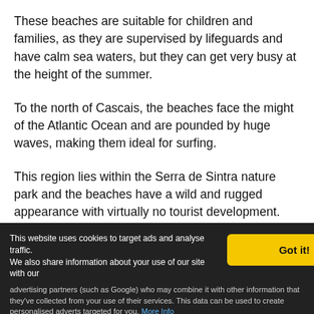These beaches are suitable for children and families, as they are supervised by lifeguards and have calm sea waters, but they can get very busy at the height of the summer.
To the north of Cascais, the beaches face the might of the Atlantic Ocean and are pounded by huge waves, making them ideal for surfing.
This region lies within the Serra de Sintra nature park and the beaches have a wild and rugged appearance with virtually no tourist development. The best beach of this northern coastline is Guincho, and is 8km from
This website uses cookies to target ads and analyse traffic. We also share information about your use of our site with our advertising partners (such as Google) who may combine it with other information that they've collected from your use of their services. This data can be used to create personalised adverts targeted for you. More Info